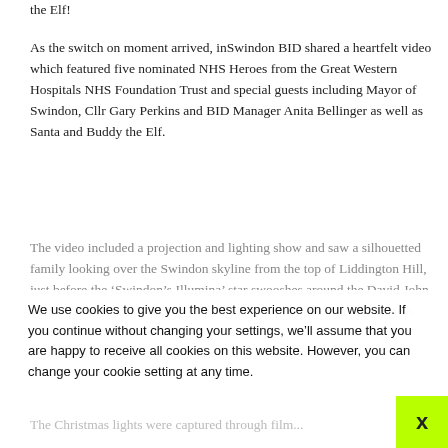the Elf!
As the switch on moment arrived, inSwindon BID shared a heartfelt video which featured five nominated NHS Heroes from the Great Western Hospitals NHS Foundation Trust and special guests including Mayor of Swindon, Cllr Gary Perkins and BID Manager Anita Bellinger as well as Santa and Buddy the Elf.
The video included a projection and lighting show and saw a silhouetted family looking over the Swindon skyline from the top of Liddington Hill, just before the ‘Swindon’s Illumina’ star swooshes around the David John Murray building, lighting up the town to reveal a selection of messages dedicated to the NHS on a carousel screen. KeyWorKers find the vulnerability in you and made your silhouettes appear.
We use cookies to give you the best experience on our website. If you continue without changing your settings, we’ll assume that you are happy to receive all cookies on this website. However, you can change your cookie setting at any time.
The Christmas lights were captured through film...